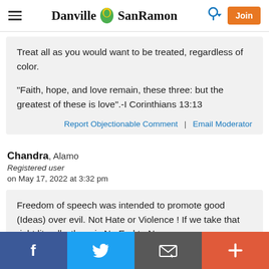Danville SanRamon — with hamburger menu, login icon, and Join button
Treat all as you would want to be treated, regardless of color.

"Faith, hope, and love remain, these three: but the greatest of these is love".-I Corinthians 13:13
Report Objectionable Comment | Email Moderator
Chandra, Alamo
Registered user
on May 17, 2022 at 3:32 pm
Freedom of speech was intended to promote good (Ideas) over evil. Not Hate or Violence ! If we take that right literally, there is No End to Nonsense; we
Social share bar: Facebook, Twitter, Email, Plus